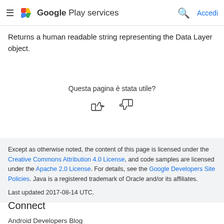Google Play services — Accedi
Returns a human readable string representing the Data Layer object.
Questa pagina è stata utile?
[Figure (illustration): Thumbs up and thumbs down icons for page feedback]
Except as otherwise noted, the content of this page is licensed under the Creative Commons Attribution 4.0 License, and code samples are licensed under the Apache 2.0 License. For details, see the Google Developers Site Policies. Java is a registered trademark of Oracle and/or its affiliates.
Last updated 2017-08-14 UTC.
Connect
Android Developers Blog